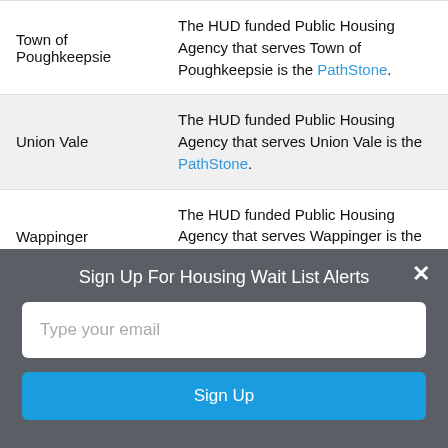| Location | Description |
| --- | --- |
| Town of Poughkeepsie | The HUD funded Public Housing Agency that serves Town of Poughkeepsie is the PathStone. |
| Union Vale | The HUD funded Public Housing Agency that serves Union Vale is the PathStone. |
| Wappinger | The HUD funded Public Housing Agency that serves Wappinger is the PathStone. |
| Wappingers | The HUD funded Public Housing ... |
Sign Up For Housing Wait List Alerts
Type your email
Sign Up